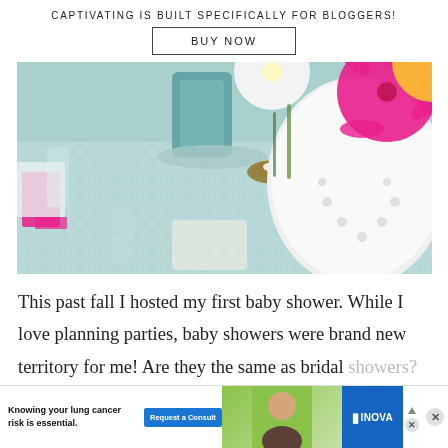CAPTIVATING IS BUILT SPECIFICALLY FOR BLOGGERS!
BUY NOW
[Figure (photo): Baby shower table setting with light blue tablecloth, white decorative vase with pink and white flowers (gerbera daisies), a small bird nest with eggs, a teal lantern, and clear plastic cups with pink napkins.]
This past fall I hosted my first baby shower. While I love planning parties, baby showers were brand new territory for me! Are they the same as bridal showers? Not really. I just want
[Figure (photo): Advertisement overlay: Knowing your lung cancer risk is essential. Request a Consult button. INOVA logo. Person image.]